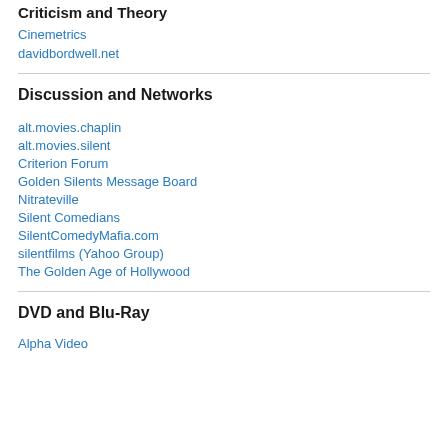Criticism and Theory
Cinemetrics
davidbordwell.net
Discussion and Networks
alt.movies.chaplin
alt.movies.silent
Criterion Forum
Golden Silents Message Board
Nitrateville
Silent Comedians
SilentComedyMafia.com
silentfilms (Yahoo Group)
The Golden Age of Hollywood
DVD and Blu-Ray
Alpha Video